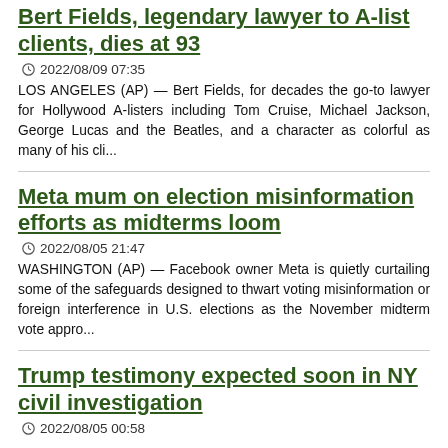Bert Fields, legendary lawyer to A-list clients, dies at 93
2022/08/09 07:35
LOS ANGELES (AP) — Bert Fields, for decades the go-to lawyer for Hollywood A-listers including Tom Cruise, Michael Jackson, George Lucas and the Beatles, and a character as colorful as many of his cli...
Meta mum on election misinformation efforts as midterms loom
2022/08/05 21:47
WASHINGTON (AP) — Facebook owner Meta is quietly curtailing some of the safeguards designed to thwart voting misinformation or foreign interference in U.S. elections as the November midterm vote appro...
Trump testimony expected soon in NY civil investigation
2022/08/05 00:58